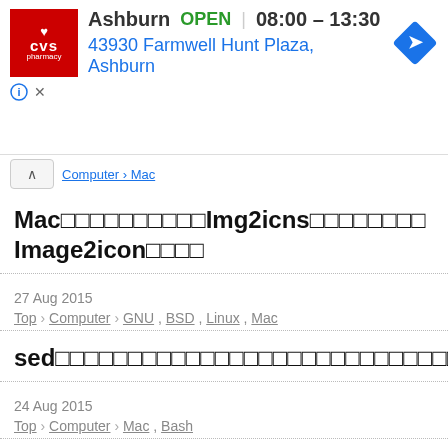[Figure (screenshot): CVS Pharmacy ad banner showing Ashburn store, OPEN 08:00–13:30, address 43930 Farmwell Hunt Plaza, Ashburn, with navigation icon]
Computer › Mac (breadcrumb collapsed)
Mac□□□□□□□□□□Img2icns□□□□□□□□Image2icon□□□□
27 Aug 2015
Top › Computer › GNU , BSD , Linux , Mac
sed□□□□□□□□□□□□□□□□□□□□□□□□□□□□□□□□□□
24 Aug 2015
Top › Computer › Mac , Bash
Mac□□□□□□□□□□□□□□□□□□□Automator□□